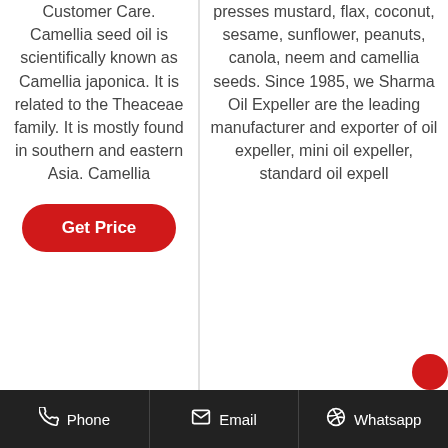Customer Care. Camellia seed oil is scientifically known as Camellia japonica. It is related to the Theaceae family. It is mostly found in southern and eastern Asia. Camellia
Get Price
presses mustard, flax, coconut, sesame, sunflower, peanuts, canola, neem and camellia seeds. Since 1985, we Sharma Oil Expeller are the leading manufacturer and exporter of oil expeller, mini oil expeller, standard oil expell
Phone   Email   Whatsapp